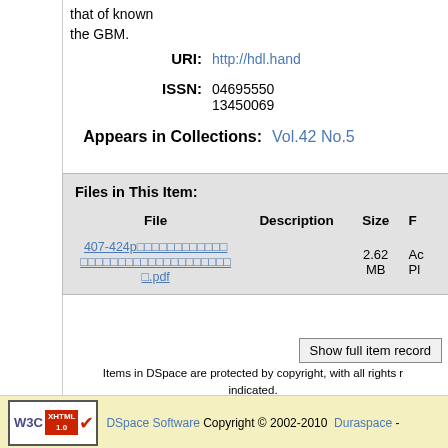that of known the GBM.
URI: http://hdl.hand...
ISSN: 04695550 13450069
Appears in Collections: Vol.42 No.5
| File | Description | Size | F |
| --- | --- | --- | --- |
| 407-424p....pdf |  | 2.62 MB | Ac Pl |
Show full item record
Items in DSpace are protected by copyright, with all rights r indicated.
DSpace Software Copyright © 2002-2010  Duraspace -